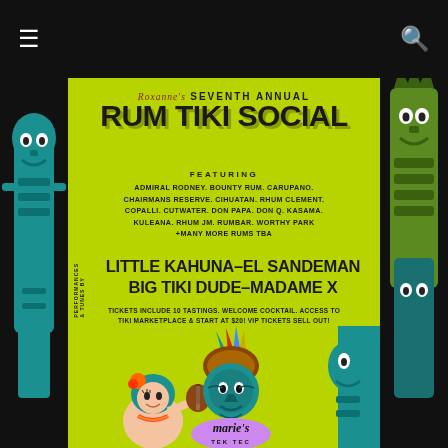≡  🔍
[Figure (illustration): Rum Tiki Social event poster with lime green background featuring tiki statues, hula girl with blue hair playing ukulele, and Aztec/Mayan head illustration. Text reads: Roxanne's Seventh Annual Rum Tiki Social featuring Admiral Rodney, Bounty Rum, Carupano, Chairmans Reserve, Cihuatan, Rhum Clement, Copalli, Cutwater, Don Papa, Don Q, Kasama, Kuleana, Rhum JM, Rumbar, Worthy Park +Many More Rums TBA. Performances & Tunes By: Little Kahuna-El Sandeman, Big Tiki Dude-Madame X. Tickets include 10 tastings, welcome cocktail, access to Tiki Marketplace & start at $20! VIP Tickets Sell Out! Marie's Tek Tec logo at bottom.]